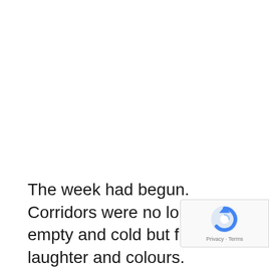The week had begun. Corridors were no longer empty and cold but full of laughter and colours.
[Figure (other): reCAPTCHA badge overlay in bottom-right corner showing the reCAPTCHA logo (circular arrow icon in blue) with 'Privacy · Terms' text below]